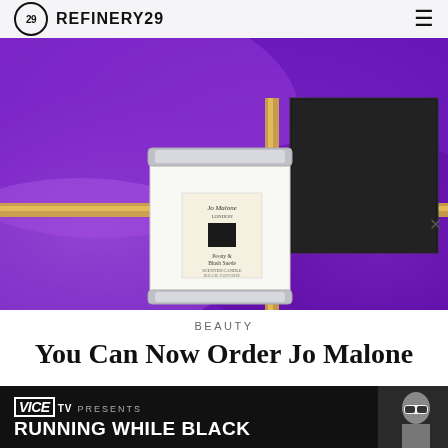REFINERY29
[Figure (photo): Jo Malone white luxury candle with silver lid displayed in front of a black gift box tied with a gold ribbon, set against a purple gradient background with gold ribbon accents]
BEAUTY
You Can Now Order Jo Malone
[Figure (screenshot): VICE TV PRESENTS RUNNING WHILE BLACK advertisement banner with a person wearing ski goggles on the right side]